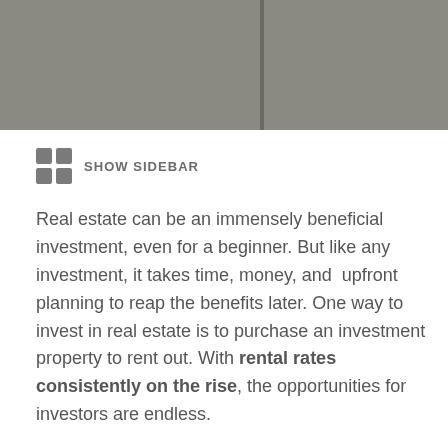[Figure (photo): Gray hero image at the top of the page with a darker vertical bar suggesting a sidebar divider]
SHOW SIDEBAR
Real estate can be an immensely beneficial investment, even for a beginner. But like any investment, it takes time, money, and upfront planning to reap the benefits later. One way to invest in real estate is to purchase an investment property to rent out. With rental rates consistently on the rise, the opportunities for investors are endless.
Investing in rental property can be incredibly rewarding in the long term, but the commitment alone might make you wonder if it's worth it. The truth is that it depends on your